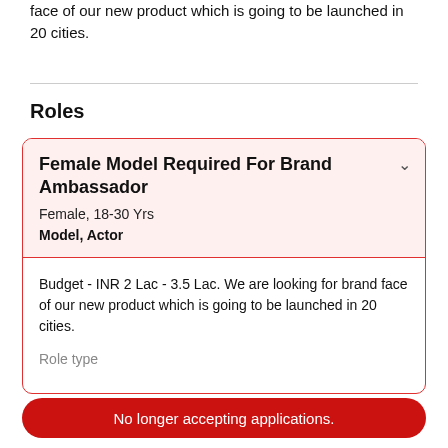face of our new product which is going to be launched in 20 cities.
Roles
Female Model Required For Brand Ambassador
Female, 18-30 Yrs
Model, Actor
Budget - INR 2 Lac - 3.5 Lac. We are looking for brand face of our new product which is going to be launched in 20 cities.
Role type
No longer accepting applications.